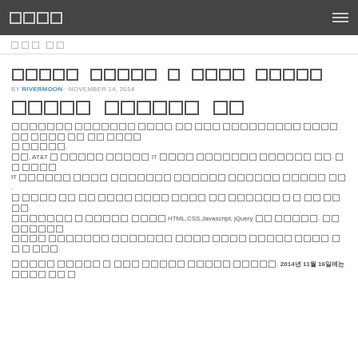□□□□ [menu icon]
□□□ □□
□□□□□ □□□□□ □ □□□□ □□□□□
BY RIVERMOON · NOVEMBER 14, 2014
□□□□□ □□□□□□ □□
□□□□□□□ □□□□□□□ □□□□ □□ □□□ □□□□□□□□□ □□□□□□ □□□□ □□ □□ □□□□ □□□□ □ □□□□ □□□□□□.
□□, AT&T □ □□□□ □□□□□ □□□□ IT □□□□ □□□□□□□ □□□□□□ □□□□ □□. □□ □□□□ □□□□ IT □□□□□□ □□□□ □□□□□□□ □□□□□□ □□□□□ □□.
□ □□□□ □□ □□ □□□□ □□ □□□□ □□□□ □□ □□ □□□□□□ □ □ □□ □□□□□□.
□□□□□□□ □ □□□□□ □□□□ HTML,CSS,Javascript, jQuery □□ □□□□□. □□□□□□□□ □□□□ □□□□□□□ □□□□ □□ □□□□ □□□□□ □□ □□□ □□□□ □□ □ □□.
□□□□□ □□□□□ □ □□ □□□□ □□□□□ □□□□ □□□□□. 2014년 11월 16일에는 □□□□ □□ □ □